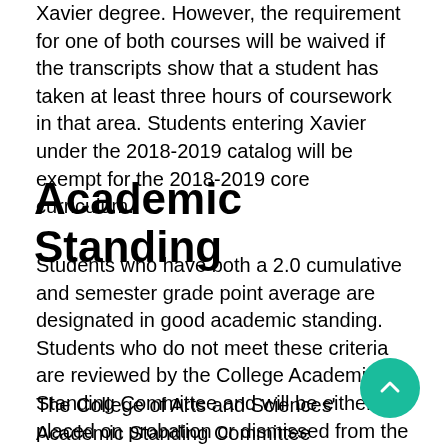Xavier degree. However, the requirement for one of both courses will be waived if the transcripts show that a student has taken at least three hours of coursework in that area. Students entering Xavier under the 2018-2019 catalog will be exempt for the 2018-2019 core curriculum.
Academic Standing
Students who have both a 2.0 cumulative and semester grade point average are designated in good academic standing. Students who do not meet these criteria are reviewed by the College Academic Standing Committee and will be either placed on probation or dismissed from the University.
The College of Arts and Sciences' Academic Standing Committee meets at the end of each semester to review student progress. The Dean of the